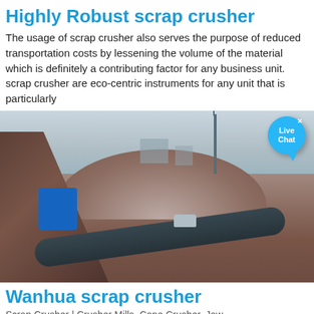Highly Robust scrap crusher
The usage of scrap crusher also serves the purpose of reduced transportation costs by lessening the volume of the material which is definitely a contributing factor for any business unit. scrap crusher are eco-centric instruments for any unit that is particularly
[Figure (photo): Outdoor industrial scrap crushing facility with conveyor belt machinery in the foreground, dirt mounds, a vehicle, industrial buildings in the misty background, and a Live Chat bubble in the upper right corner.]
Wanhua scrap crusher
Scrap Crusher | Crusher Mills, Cone Crusher, Jaw...